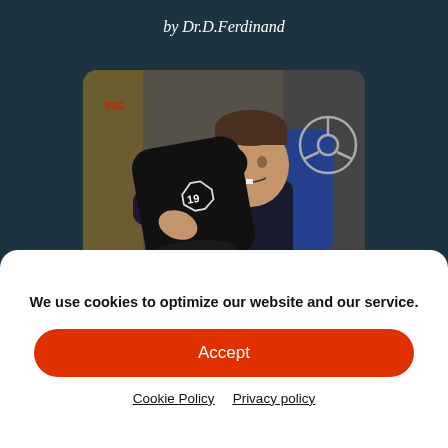by Dr.D.Ferdinand
[Figure (photo): A man holding a large black cylindrical object with a '19' logo emblem, smiling at the camera. Background shows posters and an SCP symbol on the wall.]
Escape From Site-19
We use cookies to optimize our website and our service.
Accept
Cookie Policy  Privacy policy